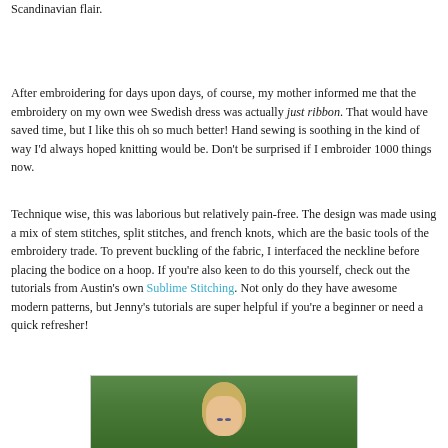Scandinavian flair.
After embroidering for days upon days, of course, my mother informed me that the embroidery on my own wee Swedish dress was actually just ribbon. That would have saved time, but I like this oh so much better! Hand sewing is soothing in the kind of way I'd always hoped knitting would be. Don't be surprised if I embroider 1000 things now.
Technique wise, this was laborious but relatively pain-free. The design was made using a mix of stem stitches, split stitches, and french knots, which are the basic tools of the embroidery trade. To prevent buckling of the fabric, I interfaced the neckline before placing the bodice on a hoop. If you're also keen to do this yourself, check out the tutorials from Austin's own Sublime Stitching. Not only do they have awesome modern patterns, but Jenny's tutorials are super helpful if you're a beginner or need a quick refresher!
[Figure (photo): Photo of a blonde woman outdoors with green foliage background, partially cropped showing face and upper portion]